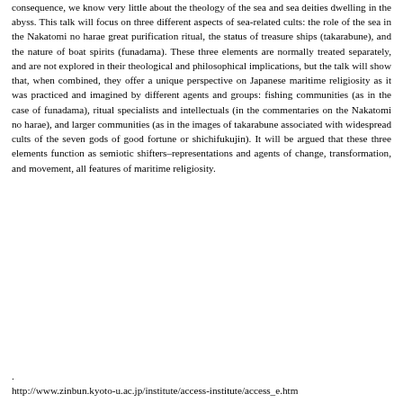consequence, we know very little about the theology of the sea and sea deities dwelling in the abyss. This talk will focus on three different aspects of sea-related cults: the role of the sea in the Nakatomi no harae great purification ritual, the status of treasure ships (takarabune), and the nature of boat spirits (funadama). These three elements are normally treated separately, and are not explored in their theological and philosophical implications, but the talk will show that, when combined, they offer a unique perspective on Japanese maritime religiosity as it was practiced and imagined by different agents and groups: fishing communities (as in the case of funadama), ritual specialists and intellectuals (in the commentaries on the Nakatomi no harae), and larger communities (as in the images of takarabune associated with widespread cults of the seven gods of good fortune or shichifukujin). It will be argued that these three elements function as semiotic shifters–representations and agents of change, transformation, and movement, all features of maritime religiosity.
.
http://www.zinbun.kyoto-u.ac.jp/institute/access-institute/access_e.htm